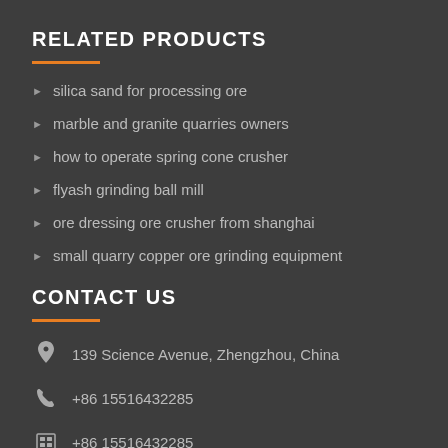RELATED PRODUCTS
silica sand for processing ore
marble and granite quarries owners
how to operate spring cone crusher
flyash grinding ball mill
ore dressing ore crusher from shanghai
small quarry copper ore grinding equipment
CONTACT US
139 Science Avenue, Zhengzhou, China
+86 15516432285
+86 15516432285